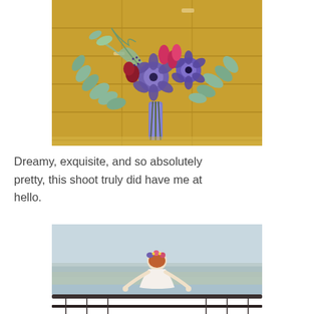[Figure (photo): A wedding bouquet with purple anemones, pink and red flowers, and eucalyptus leaves arranged against a golden/yellow paneled wall background.]
Dreamy, exquisite, and so absolutely pretty, this shoot truly did have me at hello.
[Figure (photo): A bride with a floral hair accessory standing on a high balcony or terrace, looking out over a waterway and cityscape, possibly Dubai Palm area, with her back to the camera.]